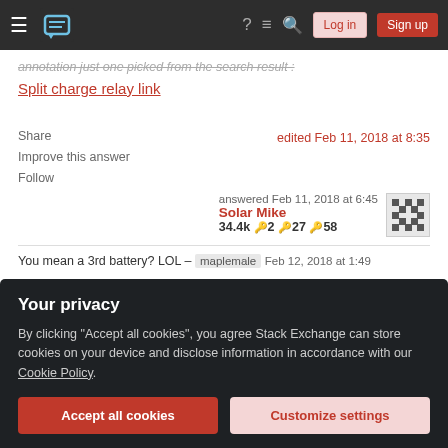Stack Exchange navigation bar with hamburger menu, logo, help, chat, search icons, Log in and Sign up buttons
...annotation just one picked from the search result ?
Split charge relay link
Share
Improve this answer
Follow
edited Feb 11, 2018 at 8:35
answered Feb 11, 2018 at 6:45
Solar Mike
34.4k 🔑2 🔑27 🔑58
You mean a 3rd battery? LOL – maplemale Feb 12, 2018 at 1:49
Your privacy
By clicking "Accept all cookies", you agree Stack Exchange can store cookies on your device and disclose information in accordance with our Cookie Policy.
Accept all cookies
Customize settings